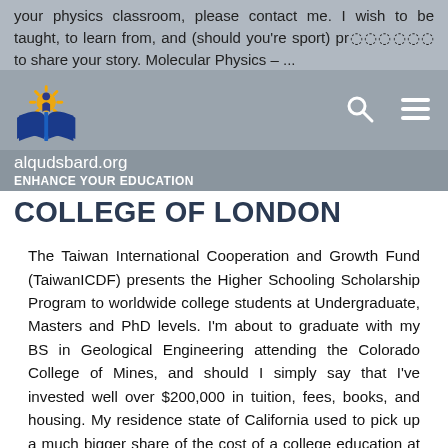your physics classroom, please contact me. I wish to be taught, to learn from, and (should you're sport) probably to share your story. Molecular Physics – ...
[Figure (logo): Al-Quds Bard College logo: sun and open book symbol in yellow and blue]
alqudsbard.org
ENHANCE YOUR EDUCATION
COLLEGE OF LONDON
The Taiwan International Cooperation and Growth Fund (TaiwanICDF) presents the Higher Schooling Scholarship Program to worldwide college students at Undergraduate, Masters and PhD levels. I'm about to graduate with my BS in Geological Engineering attending the Colorado College of Mines, and should I simply say that I've invested well over $200,000 in tuition, fees, books, and housing. My residence state of California used to pick up a much bigger share of the cost of a college education at one of many California State Universities. How lucky Filipinos are when they inherited the combination of best